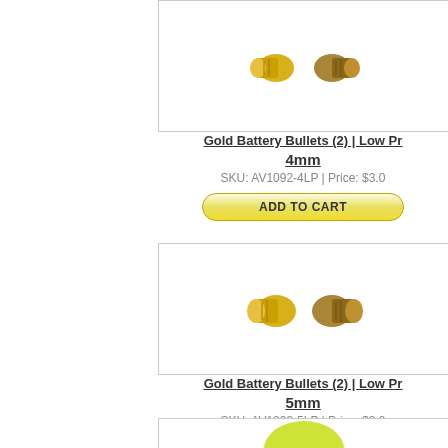[Figure (photo): Two gold bullet connectors (4mm) shown on white background]
Gold Battery Bullets (2) | Low Pr
4mm
SKU: AV1092-4LP | Price: $3.0
ADD TO CART
[Figure (photo): Two gold bullet connectors (5mm) shown on white background]
Gold Battery Bullets (2) | Low Pr
5mm
SKU: AV1092-5LP | Price: $3.0
ADD TO CART
[Figure (photo): Partial view of another product at bottom of page]